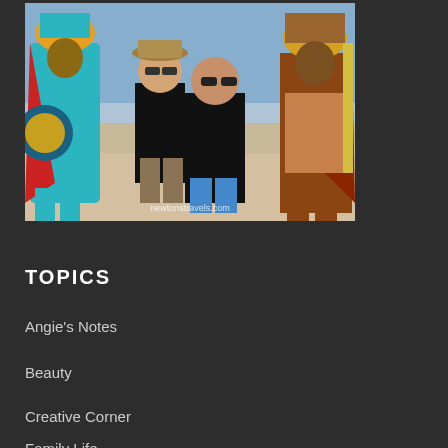[Figure (photo): Four people posing together outdoors near a port/cruise ship dock. Two people in the center are tourists (a man in black shirt and khaki shorts, a woman in black top and blue jeans). On the left and right are performers dressed in elaborate Aztec/Mayan-style colorful costumes with feathered headdresses and face paint. A watermark reads 'newtonstravels.com' at the bottom.]
TOPICS
Angie's Notes
Beauty
Creative Corner
Family Life